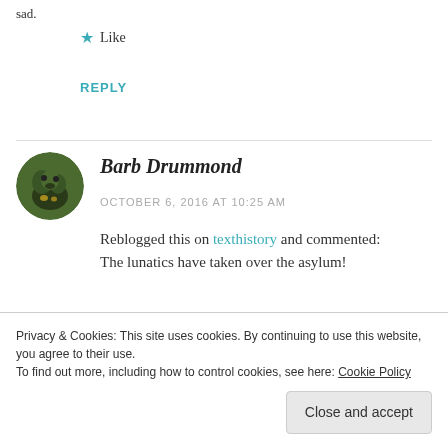sad.
★ Like
REPLY
Barb Drummond
OCTOBER 6, 2016 AT 10:25 AM
Reblogged this on texthistory and commented:
The lunatics have taken over the asylum!
Privacy & Cookies: This site uses cookies. By continuing to use this website, you agree to their use. To find out more, including how to control cookies, see here: Cookie Policy
Close and accept